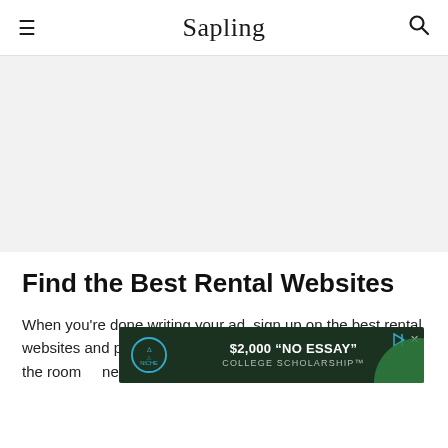Sapling
[Figure (other): Gray advertisement banner placeholder area]
Find the Best Rental Websites
When you're done writing your ad, sign up on the best rental websites and post your listing. Upload a couple of photos of the room … he
[Figure (other): Niche $2,000 No Essay College Scholarship inline advertisement banner with dark green background]